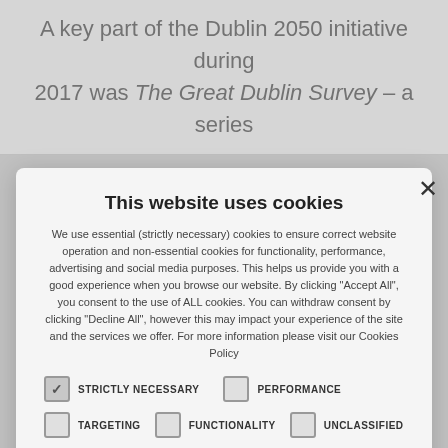A key part of the Dublin 2050 initiative during 2017 was The Great Dublin Survey – a series
[Figure (screenshot): Cookie consent modal dialog with title 'This website uses cookies', descriptive text about cookie use, checkboxes for STRICTLY NECESSARY, PERFORMANCE, TARGETING, FUNCTIONALITY, UNCLASSIFIED, and buttons ACCEPT ALL and DECLINE ALL, plus a SHOW DETAILS link.]
This website uses cookies
We use essential (strictly necessary) cookies to ensure correct website operation and non-essential cookies for functionality, performance, advertising and social media purposes. This helps us provide you with a good experience when you browse our website. By clicking "Accept All", you consent to the use of ALL cookies. You can withdraw consent by clicking "Decline All", however this may impact your experience of the site and the services we offer. For more information please visit our Cookies Policy